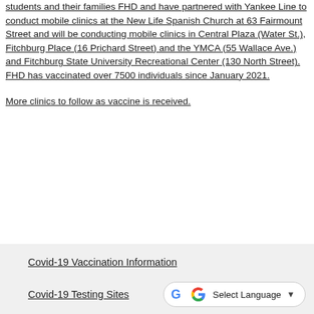students and their families FHD and have partnered with Yankee Line to conduct mobile clinics at the New Life Spanish Church at 63 Fairmount Street and will be conducting mobile clinics in Central Plaza (Water St.), Fitchburg Place (16 Prichard Street) and the YMCA (55 Wallace Ave.) and Fitchburg State University Recreational Center (130 North Street). FHD has vaccinated over 7500 individuals since January 2021.
More clinics to follow as vaccine is received.
Covid-19 Vaccination Information
Covid-19 Testing Sites